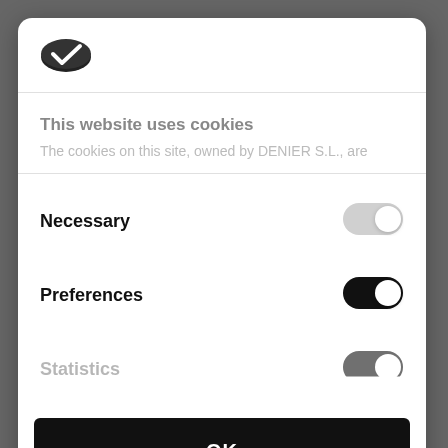[Figure (logo): Cookiebot logo: dark oval cookie shape with checkmark]
This website uses cookies
The cookies on this site, owned by DENIER S.L., are
Necessary
[Figure (other): Toggle switch in OFF state (grey)]
Preferences
[Figure (other): Toggle switch in ON state (black)]
Statistics
[Figure (other): Toggle switch partially visible (black)]
OK
Powered by Cookiebot by Usercentrics